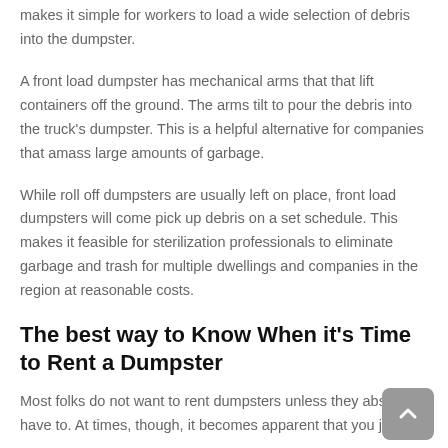makes it simple for workers to load a wide selection of debris into the dumpster.
A front load dumpster has mechanical arms that that lift containers off the ground. The arms tilt to pour the debris into the truck's dumpster. This is a helpful alternative for companies that amass large amounts of garbage.
While roll off dumpsters are usually left on place, front load dumpsters will come pick up debris on a set schedule. This makes it feasible for sterilization professionals to eliminate garbage and trash for multiple dwellings and companies in the region at reasonable costs.
The best way to Know When it's Time to Rent a Dumpster
Most folks do not want to rent dumpsters unless they absolutely have to. At times, though, it becomes apparent that you just